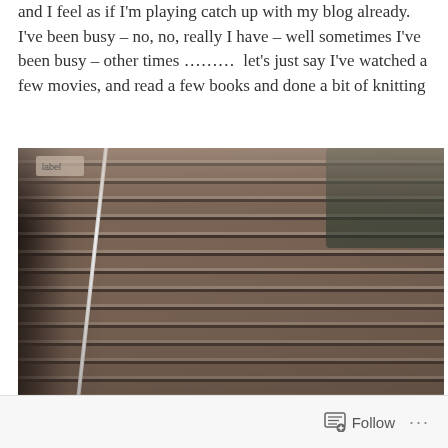and I feel as if I'm playing catch up with my blog already.  I've been busy – no, no, really I have – well sometimes I've been busy – other times ………  let's just say I've watched a few movies, and read a few books and done a bit of knitting
[Figure (photo): Close-up photograph of brown/taupe knitting in progress on a needle, showing ribbed texture with rows of knit stitches. A knitting needle is visible on the left side.]
Follow ···